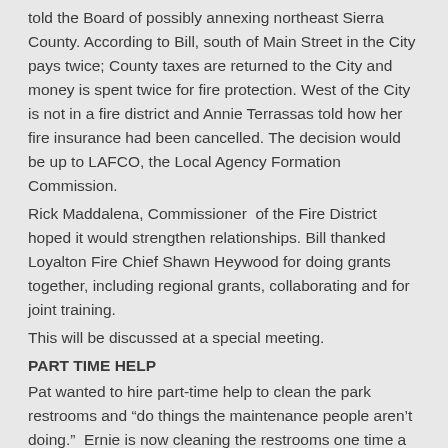told the Board of possibly annexing northeast Sierra County. According to Bill, south of Main Street in the City pays twice; County taxes are returned to the City and money is spent twice for fire protection. West of the City is not in a fire district and Annie Terrassas told how her fire insurance had been cancelled. The decision would be up to LAFCO, the Local Agency Formation Commission.
Rick Maddalena, Commissioner  of the Fire District hoped it would strengthen relationships. Bill thanked Loyalton Fire Chief Shawn Heywood for doing grants together, including regional grants, collaborating and for joint training.
This will be discussed at a special meeting.
PART TIME HELP
Pat wanted to hire part-time help to clean the park restrooms and “do things the maintenance people aren’t doing.”  Ernie is now cleaning the restrooms one time a week and he said they need attention three times a week. Bookkeeper Kim Lombardi stated, “I don’t think we can afford that.” The park is over budget and they haven’t heard back on the rental. The only revenue is